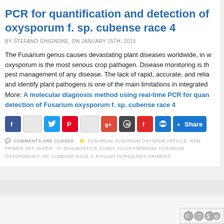PCR for quantification and detection of Fusarium oxysporum f. sp. cubense race 4
BY STEFANO GHIGNONE, ON JANUARY 15TH, 2013
The Fusarium genus causes devastating plant diseases worldwide, in which oxysporum is the most serious crop pathogen. Disease monitoring is the pest management of any disease. The lack of rapid, accurate, and reliable to detect and identify plant pathogens is one of the main limitations in integrated More: A molecular diagnosis method using real-time PCR for quantification and detection of Fusarium oxysporum f. sp. cubense race 4
[Figure (infographic): Social share bar with icons for Facebook, Twitter, Pinterest, Google+, WordPress, Flipboard, Print, and a Share button]
COMMENTS ARE CLOSED  FUSARIUM, FUSARIUM OXYSPORUM ARTICLE, NEW PRIMER SET, PAPER  DIAGNOSTICS, FUNGI, FUSARIUM OXYSPORUM, FUSARIUM OXYSPORUM F. SP. CUBENSE RACE 4, PLANT PATHOLOGY, PRIMERS